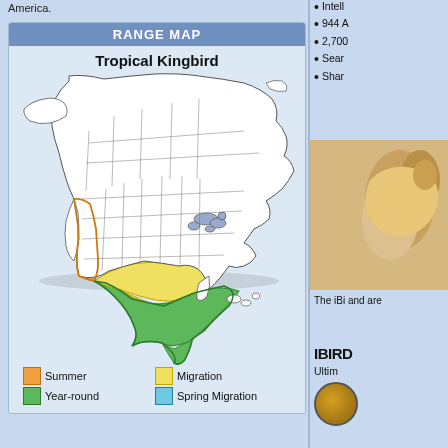America.
[Figure (map): Range map of Tropical Kingbird showing Summer (orange), Migration (yellow), Year-round (green), and Spring Migration (blue) ranges across North America and Mexico/Central America. The map title is 'Tropical Kingbird' and the section header is 'RANGE MAP'.]
Intell
944 A
2,700
Sear
Shar
The iBi and are
IBIRD
Ultim